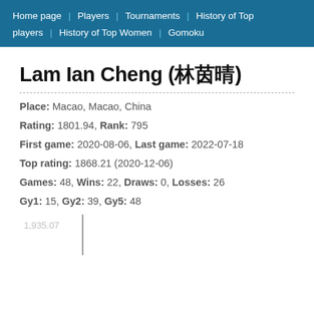Home page players | Players | Tournaments | History of Top players | History of Top Women | Gomoku
Lam Ian Cheng (林茵晴)
Place: Macao, Macao, China
Rating: 1801.94, Rank: 795
First game: 2020-08-06, Last game: 2022-07-18
Top rating: 1868.21 (2020-12-06)
Games: 48, Wins: 22, Draws: 0, Losses: 26
Gy1: 15, Gy2: 39, Gy5: 48
[Figure (continuous-plot): Partial rating history chart showing a vertical axis line with a label of 1,935.07 on the left]